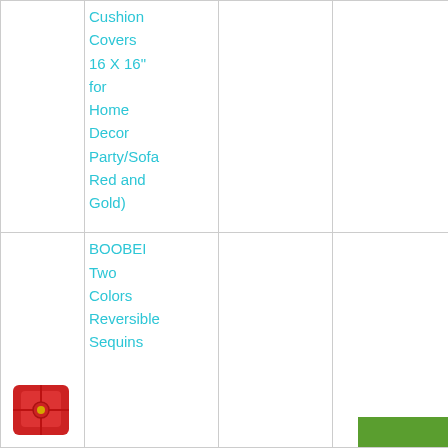|  | Product Name |  |  |
| --- | --- | --- | --- |
|  | Cushion Covers 16 X 16" for Home Decor Party/Sofa Red and Gold) |  |  |
| [image] | BOOBEI Two Colors Reversible Sequins [...] |  | [green button] |